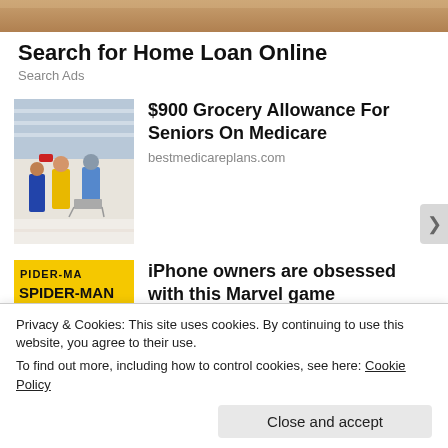[Figure (photo): Top strip showing a person's skin/body cropped]
Search for Home Loan Online
Search Ads
[Figure (photo): People shopping in a grocery store aisle with carts]
$900 Grocery Allowance For Seniors On Medicare
bestmedicareplans.com
[Figure (photo): Spider-Man movie poster with yellow background, text PIDER-MA and SPIDER-MAN]
iPhone owners are obsessed with this Marvel game
MARVEL Strike Force
Privacy & Cookies: This site uses cookies. By continuing to use this website, you agree to their use.
To find out more, including how to control cookies, see here: Cookie Policy
Close and accept